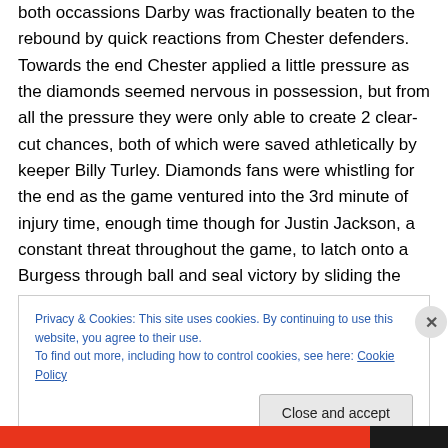both occassions Darby was fractionally beaten to the rebound by quick reactions from Chester defenders. Towards the end Chester applied a little pressure as the diamonds seemed nervous in possession, but from all the pressure they were only able to create 2 clear-cut chances, both of which were saved athletically by keeper Billy Turley. Diamonds fans were whistling for the end as the game ventured into the 3rd minute of injury time, enough time though for Justin Jackson, a constant threat throughout the game, to latch onto a Burgess through ball and seal victory by sliding the ball effortlessly passed
Privacy & Cookies: This site uses cookies. By continuing to use this website, you agree to their use.
To find out more, including how to control cookies, see here: Cookie Policy
Close and accept